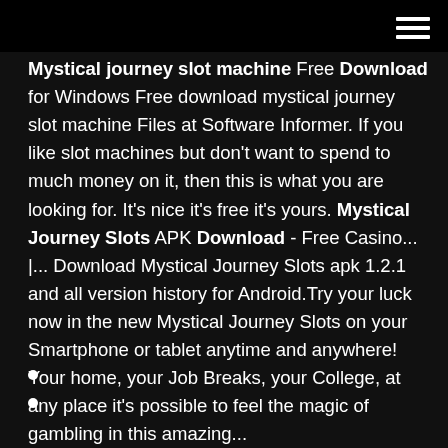Mystical journey slot machine Free Download for Windows Free download mystical journey slot machine Files at Software Informer. If you like slot machines but don't want to spend to much money on it, then this is what you are looking for. It's nice it's free it's yours. Mystical Journey Slots APK Download - Free Casino... |... Download Mystical Journey Slots apk 1.2.1 and all version history for Android.Try your luck now in the new Mystical Journey Slots on your Smartphone or tablet anytime and anywhere! Your home, your Job Breaks, your College, at any place it's possible to feel the magic of gambling in this amazing...